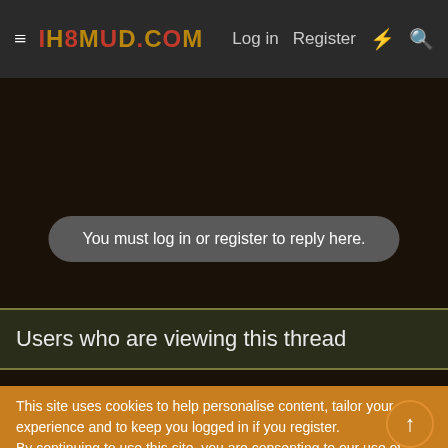IH8MUD.COM — Log in  Register
You must log in or register to reply here.
Users who are viewing this thread
Total: 2 (members: 0, guests: 2)
Share:
This site uses cookies to help personalise content, tailor your experience and to keep you logged in if you register.
By continuing to use this site, you are consenting to our use of cookies.
✓ Accept   Learn more...